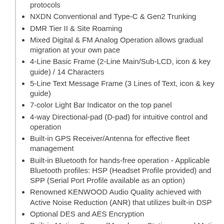protocols
NXDN Conventional and Type-C & Gen2 Trunking
DMR Tier II & Site Roaming
Mixed Digital & FM Analog Operation allows gradual migration at your own pace
4-Line Basic Frame (2-Line Main/Sub-LCD, icon & key guide) / 14 Characters
5-Line Text Message Frame (3 Lines of Text, icon & key guide)
7-color Light Bar Indicator on the top panel
4-way Directional-pad (D-pad) for intuitive control and operation
Built-in GPS Receiver/Antenna for effective fleet management
Built-in Bluetooth for hands-free operation - Applicable Bluetooth profiles: HSP (Headset Profile provided) and SPP (Serial Port Profile available as an option)
Renowned KENWOOD Audio Quality achieved with Active Noise Reduction (ANR) that utilizes built-in DSP
Optional DES and AES Encryption
Built-in Motion Sensor (Man-down, Stationary and Motion Detection)